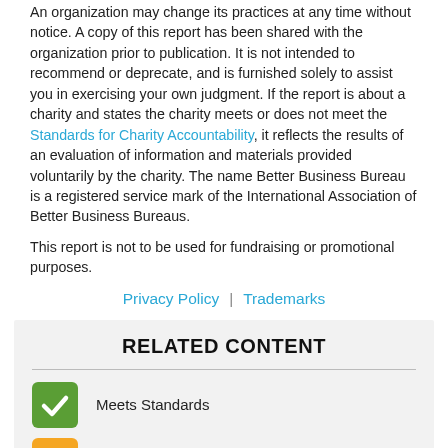An organization may change its practices at any time without notice. A copy of this report has been shared with the organization prior to publication. It is not intended to recommend or deprecate, and is furnished solely to assist you in exercising your own judgment. If the report is about a charity and states the charity meets or does not meet the Standards for Charity Accountability, it reflects the results of an evaluation of information and materials provided voluntarily by the charity. The name Better Business Bureau is a registered service mark of the International Association of Better Business Bureaus.
This report is not to be used for fundraising or promotional purposes.
Privacy Policy | Trademarks
RELATED CONTENT
Meets Standards
Standards Not Met
Did Not Disclose